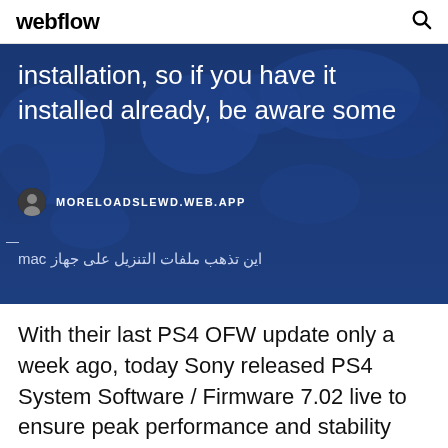webflow
installation, so if you have it installed already, be aware some
MORELOADSLEWD.WEB.APP
mac اين تذهب ملفات التنزيل على جهاز
With their last PS4 OFW update only a week ago, today Sony released PS4 System Software / Firmware 7.02 live to ensure peak performance and stability